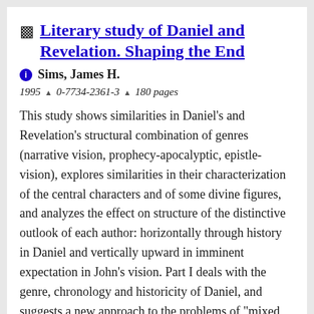Literary study of Daniel and Revelation. Shaping the End
Sims, James H.
1995 ▲ 0-7734-2361-3 ▲ 180 pages
This study shows similarities in Daniel's and Revelation's structural combination of genres (narrative vision, prophecy-apocalyptic, epistle-vision), explores similarities in their characterization of the central characters and of some divine figures, and analyzes the effect on structure of the distinctive outlook of each author: horizontally through history in Daniel and vertically upward in imminent expectation in John's vision. Part I deals with the genre, chronology and historicity of Daniel, and suggests a new approach to the problems of "mixed genre" and "historical errors," showing the literary unity binding Daniel's